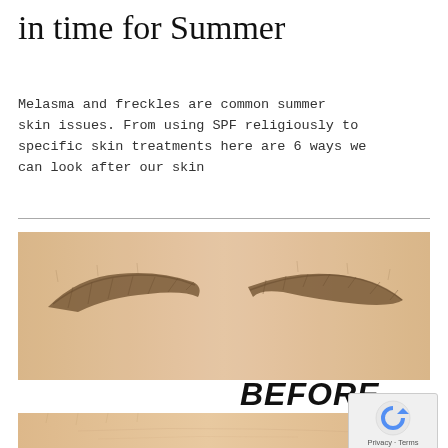in time for Summer
Melasma and freckles are common summer skin issues. From using SPF religiously to specific skin treatments here are 6 ways we can look after our skin
[Figure (photo): Close-up photograph of a person's eyebrows before treatment, showing natural brow shape with some sparse areas]
BEFORE
[Figure (photo): Close-up photograph of a person's forehead/brow area after treatment, partially visible]
[Figure (other): reCAPTCHA privacy widget showing Google reCAPTCHA logo with Privacy and Terms links]